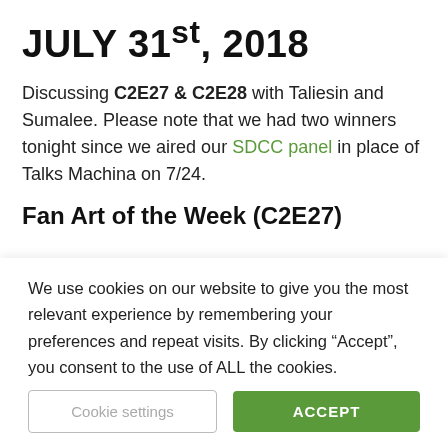JULY 31st, 2018
Discussing C2E27 & C2E28 with Taliesin and Sumalee. Please note that we had two winners tonight since we aired our SDCC panel in place of Talks Machina on 7/24.
Fan Art of the Week (C2E27)
[Figure (other): Large grey opening quotation marks on a light grey background, indicating a blockquote section.]
We use cookies on our website to give you the most relevant experience by remembering your preferences and repeat visits. By clicking “Accept”, you consent to the use of ALL the cookies.